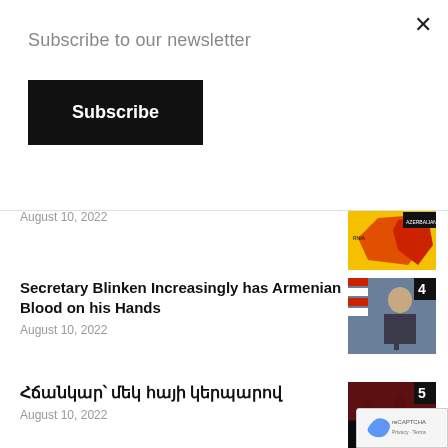Subscribe to our newsletter
Subscribe
August 10, 2022
Secretary Blinken Increasingly has Armenian Blood on his Hands
August 10, 2022
Հճանկար՝ մեկ հայի կերպարով
August 10, 2022
«Եղբայր եմք մեք, որ մnnկաւ Էhնք զատnւած»
August 10, 2022
[Figure (photo): Map showing Armenia and Azerbaijan regions with red and yellow coloring]
[Figure (photo): Secretary Blinken speaking at podium with American flag in background]
[Figure (photo): Dark landscape photo with silhouetted figures]
[Figure (logo): reCAPTCHA badge with Privacy and Terms text]